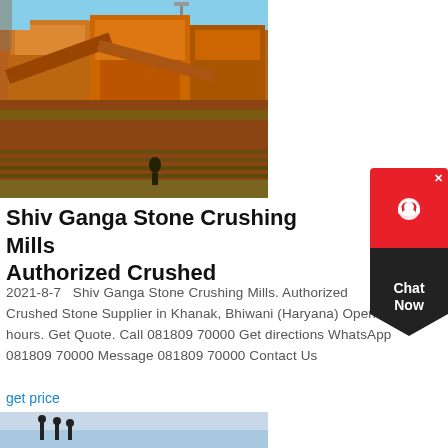[Figure (photo): Industrial stone crushing machinery with rusty orange metal equipment against a blue sky background]
Shiv Ganga Stone Crushing Mills Authorized Crushed
2021-8-7   Shiv Ganga Stone Crushing Mills. Authorized Crushed Stone Supplier in Khanak, Bhiwani (Haryana) Open 24 hours. Get Quote. Call 081809 70000 Get directions WhatsApp 081809 70000 Message 081809 70000 Contact Us
get price
[Figure (photo): Partially visible image at the bottom of the page showing figures or machinery silhouettes against a sky]